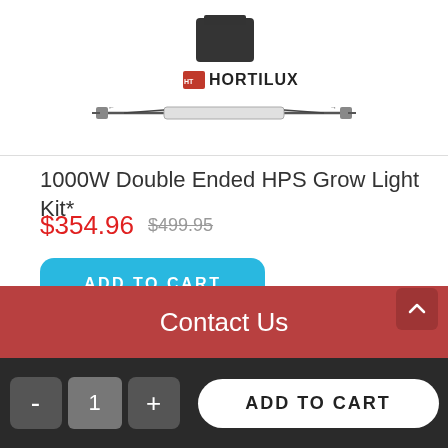[Figure (photo): Product image of a Hortilux 1000W Double Ended HPS grow light, showing a grow lamp with ballast and tube components, with the Hortilux logo visible.]
1000W Double Ended HPS Grow Light Kit*
$354.96  $499.95
ADD TO CART
Contact Us
- 1 + ADD TO CART